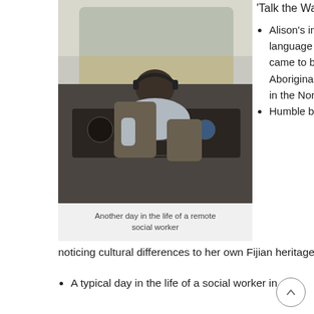[Figure (photo): View from behind a pilot sitting in the cockpit of a small aircraft, with flight instruments and runway visible through the windshield.]
Another day in the life of a remote social worker
'Talk the Walk' we explore:
Alison's interest in language and how she came to be working with Aboriginal communities in the Northern Territory
Humble beginnings noticing cultural differences to her own Fijian heritage
A typical day in the life of a social worker in a